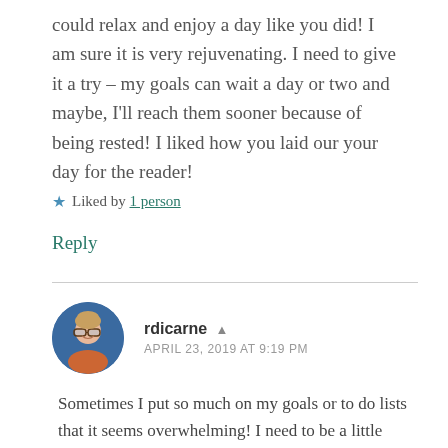could relax and enjoy a day like you did! I am sure it is very rejuvenating. I need to give it a try – my goals can wait a day or two and maybe, I'll reach them sooner because of being rested! I liked how you laid our your day for the reader!
★ Liked by 1 person
Reply
[Figure (photo): Circular avatar photo of a woman with glasses and short blonde hair, smiling, with a blue background]
rdicarne ▲
APRIL 23, 2019 AT 9:19 PM
Sometimes I put so much on my goals or to do lists that it seems overwhelming! I need to be a little easier on myself once in awhile.